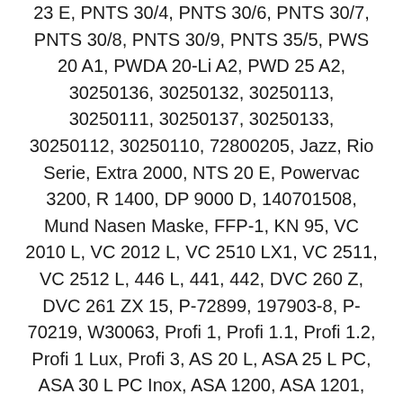23 E, PNTS 30/4, PNTS 30/6, PNTS 30/7, PNTS 30/8, PNTS 30/9, PNTS 35/5, PWS 20 A1, PWDA 20-Li A2, PWD 25 A2, 30250136, 30250132, 30250113, 30250111, 30250137, 30250133, 30250112, 30250110, 72800205, Jazz, Rio Serie, Extra 2000, NTS 20 E, Powervac 3200, R 1400, DP 9000 D, 140701508, Mund Nasen Maske, FFP-1, KN 95, VC 2010 L, VC 2012 L, VC 2510 LX1, VC 2511, VC 2512 L, 446 L, 441, 442, DVC 260 Z, DVC 261 ZX 15, P-72899, 197903-8, P-70219, W30063, Profi 1, Profi 1.1, Profi 1.2, Profi 1 Lux, Profi 3, AS 20 L, ASA 25 L PC, ASA 30 L PC Inox, ASA 1200, ASA 1201, ASA 2050, ASA 2025, ASR 25 25 L SC, ASR 25 M SC, ASR 35 L AutoClean, ASR 35 M AutoClean, ASR 35 L ACP, ASR 35 M ACP, ASR 36-18 BL 25 M SC, ASR 50 L SC, ASR 50 M SC, 630296000, 631629000, 630343000